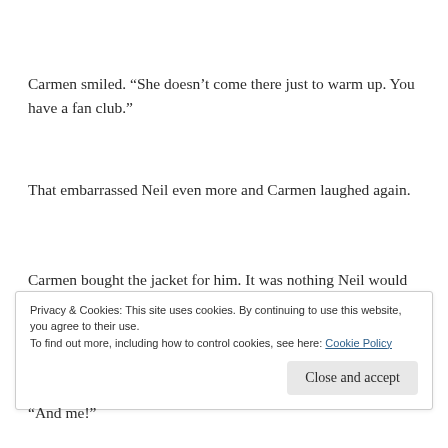Carmen smiled. “She doesn’t come there just to warm up. You have a fan club.”
That embarrassed Neil even more and Carmen laughed again.
Carmen bought the jacket for him. It was nothing Neil would have chosen, but she assured him it was stylish as well as warm.  He bought lesser presents for a dozen of his
Privacy & Cookies: This site uses cookies. By continuing to use this website, you agree to their use.
To find out more, including how to control cookies, see here: Cookie Policy
“And me!”